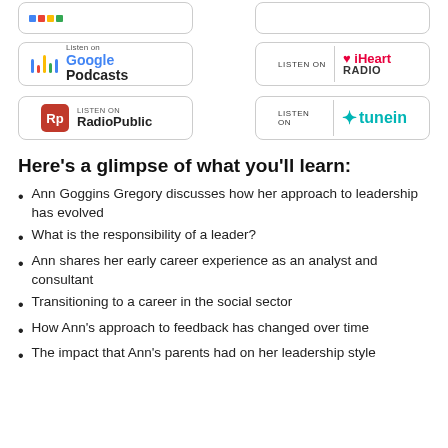[Figure (other): Partial podcast listen buttons at top of page (cropped from above)]
[Figure (other): Listen on Google Podcasts button]
[Figure (other): Listen on iHeart Radio button]
[Figure (other): Listen on RadioPublic button]
[Figure (other): Listen on TuneIn button]
Here's a glimpse of what you'll learn:
Ann Goggins Gregory discusses how her approach to leadership has evolved
What is the responsibility of a leader?
Ann shares her early career experience as an analyst and consultant
Transitioning to a career in the social sector
How Ann's approach to feedback has changed over time
The impact that Ann's parents had on her leadership style